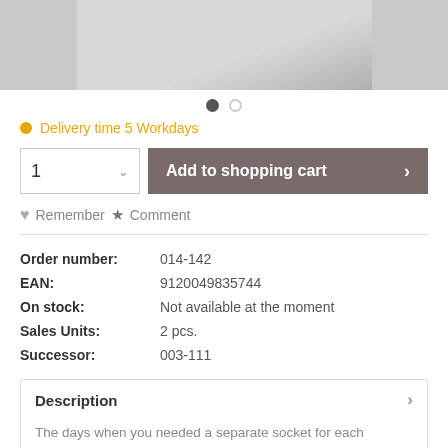[Figure (photo): Product image cropped at top, showing a silver/grey metallic object on grey background]
Delivery time 5 Workdays
1  Add to shopping cart
Remember  Comment
| Order number: | 014-142 |
| EAN: | 9120049835744 |
| On stock: | Not available at the moment |
| Sales Units: | 2 pcs. |
| Successor: | 003-111 |
Description
The days when you needed a separate socket for each